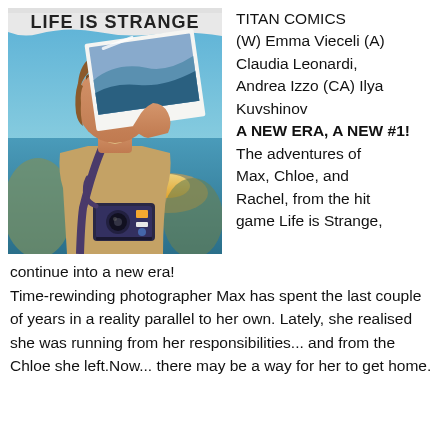[Figure (illustration): Comic book cover for Life is Strange showing an anime-style girl with short brown hair holding up a polaroid photograph with an ocean/wave scene, also holding a polaroid camera, with a coastal sunset background. The title 'LIFE IS STRANGE' appears at the top in torn paper style.]
TITAN COMICS
(W) Emma Vieceli (A) Claudia Leonardi, Andrea Izzo (CA) Ilya Kuvshinov
A NEW ERA, A NEW #1!
The adventures of Max, Chloe, and Rachel, from the hit game Life is Strange, continue into a new era!
Time-rewinding photographer Max has spent the last couple of years in a reality parallel to her own. Lately, she realised she was running from her responsibilities... and from the Chloe she left.Now... there may be a way for her to get home.